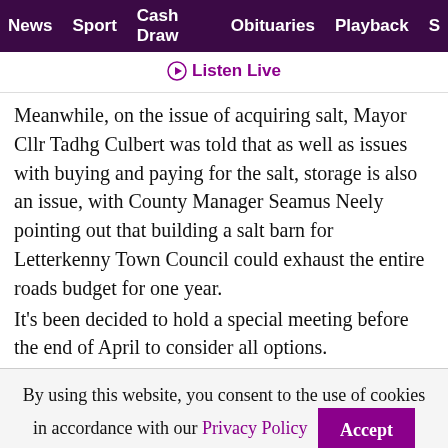News | Sport | Cash Draw | Obituaries | Playback | S
▶ Listen Live
Meanwhile, on the issue of acquiring salt, Mayor Cllr Tadhg Culbert was told that as well as issues with buying and paying for the salt, storage is also an issue, with County Manager Seamus Neely pointing out that building a salt barn for Letterkenny Town Council could exhaust the entire roads budget for one year. It's been decided to hold a special meeting before the end of April to consider all options.
By using this website, you consent to the use of cookies in accordance with our Privacy Policy
Accept